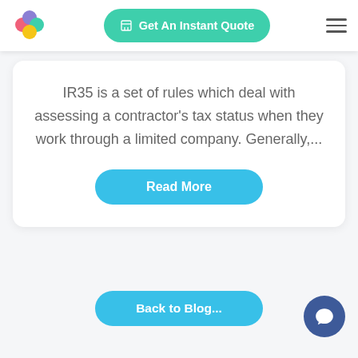[Figure (logo): Colorful flower/blob logo with pink, blue-purple, teal, and yellow circles]
Get An Instant Quote
IR35 is a set of rules which deal with assessing a contractor's tax status when they work through a limited company. Generally,...
Read More
Back to Blog...